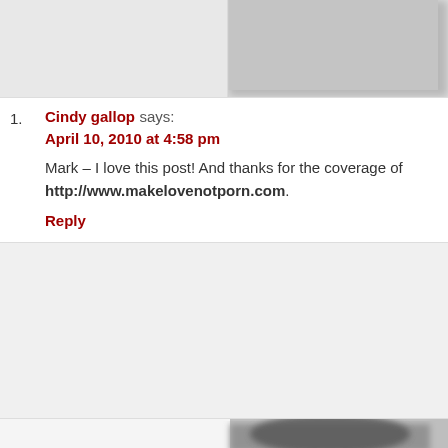[Figure (photo): Blurred avatar/profile image at top of page]
1. Cindy gallop says: April 10, 2010 at 4:58 pm
Mark – I love this post! And thanks for the coverage of http://www.makelovenotporn.com.
Reply
[Figure (photo): Blurred black and white photo of a dog face, partially visible at bottom of page]